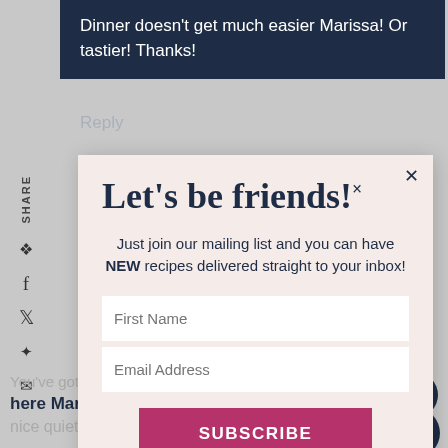Dinner doesn't get much easier Marissa! Or tastier! Thanks!
Reply
Let's be friends!
Just join our mailing list and you can have NEW recipes delivered straight to your inbox!
First Name
Email Address
SUBSCRIBE
You've got such a delicious looking dish here Mary Ann!! Glad to hear you had a nice quiet weekend :)